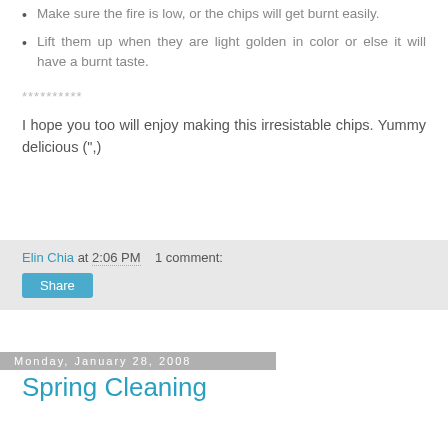Make sure the fire is low, or the chips will get burnt easily.
Lift them up when they are light golden in color or else it will have a burnt taste.
**********
I hope you too will enjoy making this irresistable chips. Yummy delicious (",)
Elin Chia at 2:06 PM   1 comment:
Share
Monday, January 28, 2008
Spring Cleaning